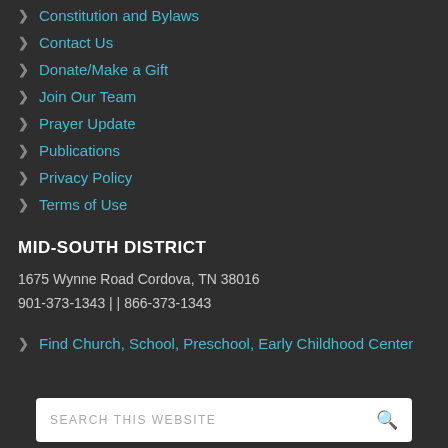Constitution and Bylaws
Contact Us
Donate/Make a Gift
Join Our Team
Prayer Update
Publications
Privacy Policy
Terms of Use
MID-SOUTH DISTRICT
1675 Wynne Road Cordova, TN 38016
901-373-1343 || 866-373-1343
Find Church, School, Preschool, Early Childhood Center